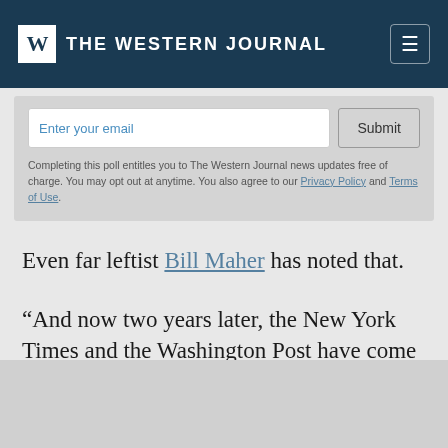THE WESTERN JOURNAL
Enter your email   Submit
Completing this poll entitles you to The Western Journal news updates free of charge. You may opt out at anytime. You also agree to our Privacy Policy and Terms of Use.
Even far leftist Bill Maher has noted that.
“And now two years later, the New York Times and the Washington Post have come around to say ‘OK there was something there,’” Maher said. “It looks lik